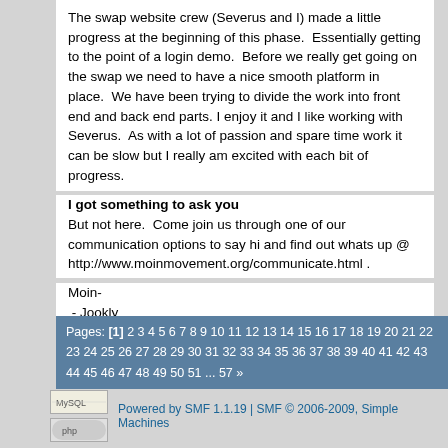The swap website crew (Severus and I) made a little progress at the beginning of this phase.  Essentially getting to the point of a login demo.  Before we really get going on the swap we need to have a nice smooth platform in place.  We have been trying to divide the work into front end and back end parts. I enjoy it and I like working with Severus.  As with a lot of passion and spare time work it can be slow but I really am excited with each bit of progress.
I got something to ask you
But not here.  Come join us through one of our communication options to say hi and find out whats up @  http://www.moinmovement.org/communicate.html .
Moin-
 - Jookly
Pages: [1] 2 3 4 5 6 7 8 9 10 11 12 13 14 15 16 17 18 19 20 21 22 23 24 25 26 27 28 29 30 31 32 33 34 35 36 37 38 39 40 41 42 43 44 45 46 47 48 49 50 51 ... 57 »
Powered by SMF 1.1.19 | SMF © 2006-2009, Simple Machines